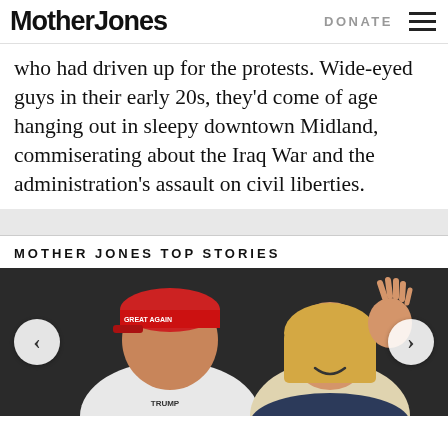Mother Jones | DONATE ☰
who had driven up for the protests. Wide-eyed guys in their early 20s, they'd come of age hanging out in sleepy downtown Midland, commiserating about the Iraq War and the administration's assault on civil liberties.
MOTHER JONES TOP STORIES
[Figure (photo): Photo of a man wearing a red GREAT AGAIN cap and white TRUMP polo shirt alongside a blonde woman waving, in a carousel with left and right navigation arrows.]